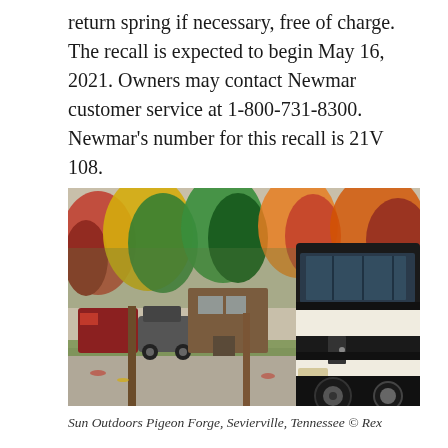return spring if necessary, free of charge. The recall is expected to begin May 16, 2021. Owners may contact Newmar customer service at 1-800-731-8300. Newmar's number for this recall is 21V 108.
[Figure (photo): Outdoor RV park with large black and white motorhome coach in foreground on right side, multiple RVs and cars parked in background, surrounded by trees with autumn foliage in shades of orange, yellow, green, and red. Gravel and grass ground cover visible.]
Sun Outdoors Pigeon Forge, Sevierville, Tennessee © Rex